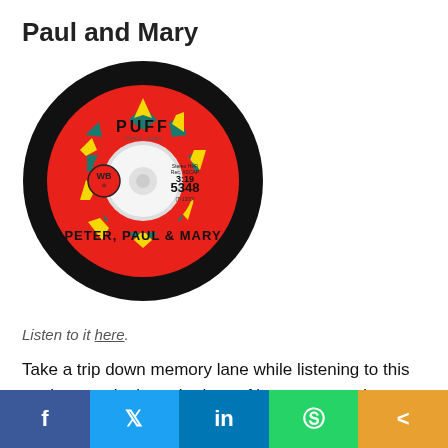Paul and Mary
[Figure (photo): A vinyl record with a red label showing 'PUFF' at the top, Warner Bros (WB) logo on the left, a decorative star/flower pattern in the center, catalog number 5348, and 'PETER, PAUL & MARY' at the bottom. The record is on a dark background.]
Listen to it here.
Take a trip down memory lane while listening to this ageless track about the loss of innocence and growing up, and how the magic of childhood inevitably comes to an abrupt end. Not only does the nostalgic and wistful tone o...